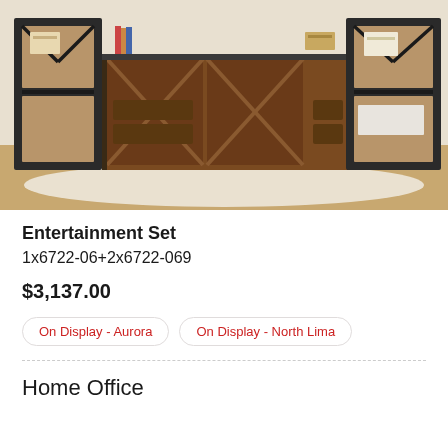[Figure (photo): Rustic industrial entertainment set with dark metal frame and warm brown wood tones, featuring a central TV console with sliding barn-style doors and wicker basket drawers, flanked by tall open bookcase towers.]
Entertainment Set
1x6722-06+2x6722-069
$3,137.00
On Display - Aurora
On Display - North Lima
Home Office